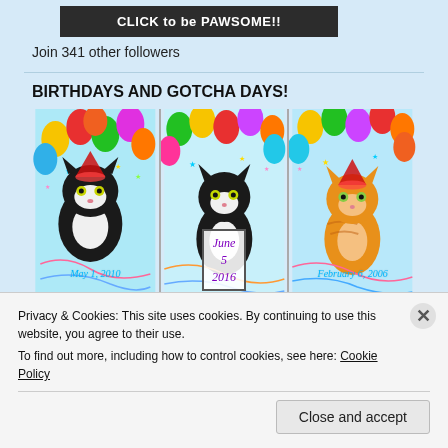[Figure (other): Dark button with text CLICK to be PAWSOME!!]
Join 341 other followers
BIRTHDAYS AND GOTCHA DAYS!
[Figure (photo): Three birthday photos of cats with colorful balloons. First cat (tuxedo) with date May 1, 2010. Second cat (tuxedo kitten) with date June 5, 2016. Third cat (orange tabby kitten) with date February 6, 2006.]
Privacy & Cookies: This site uses cookies. By continuing to use this website, you agree to their use.
To find out more, including how to control cookies, see here: Cookie Policy